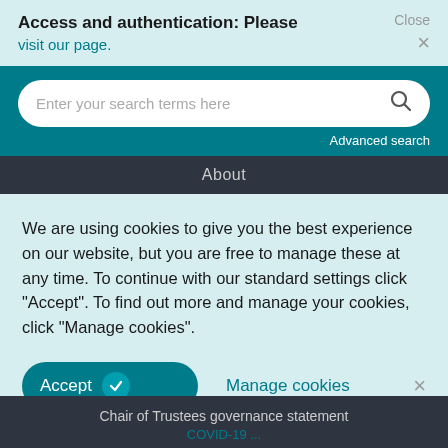Access and authentication: Please visit our page.
Close ×
[Figure (screenshot): Search bar with placeholder text 'Enter your search terms here' and a magnifying glass icon, on a teal background. Below it: 'Advanced search' link.]
About
We are using cookies to give you the best experience on our website, but you are free to manage these at any time. To continue with our standard settings click "Accept". To find out more and manage your cookies, click "Manage cookies".
Accept  ✓    Manage cookies    ×
Chair of Trustees governance statement